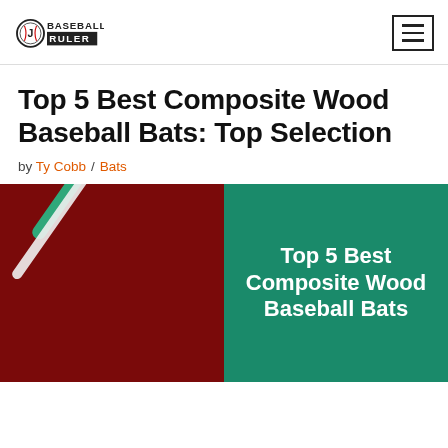Baseball Ruler — navigation header with logo and hamburger menu
Top 5 Best Composite Wood Baseball Bats: Top Selection
by Ty Cobb / Bats
[Figure (photo): Featured image: left half shows a green-handled baseball bat on dark red background; right half is teal/green background with white bold text reading 'Top 5 Best Composite Wood Baseball Bats']